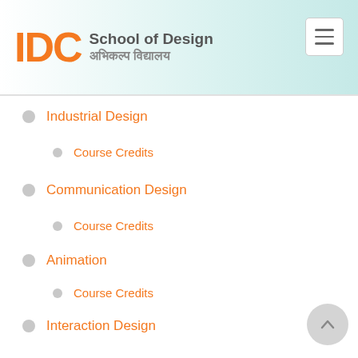[Figure (logo): IDC School of Design logo with orange IDC text and Hindi subtitle]
Industrial Design
Course Credits
Communication Design
Course Credits
Animation
Course Credits
Interaction Design
Course Credits
Course Documentation
Mobility And Vehicle Design